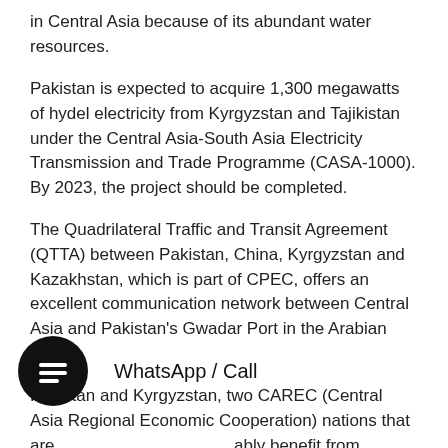in Central Asia because of its abundant water resources.
Pakistan is expected to acquire 1,300 megawatts of hydel electricity from Kyrgyzstan and Tajikistan under the Central Asia-South Asia Electricity Transmission and Trade Programme (CASA-1000). By 2023, the project should be completed.
The Quadrilateral Traffic and Transit Agreement (QTTA) between Pakistan, China, Kyrgyzstan and Kazakhstan, which is part of CPEC, offers an excellent communication network between Central Asia and Pakistan's Gwadar Port in the Arabian Sea.
Pakistan and Kyrgyzstan, two CAREC (Central Asia Regional Economic Cooperation) nations that are [partially obscured] ably benefit from [partially obscured]nced regional connectivity and trade. Both nations are growing economies with substantial agricultural